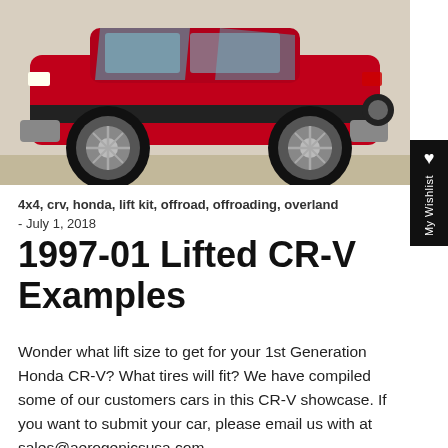[Figure (photo): Side view of a lifted red Honda CR-V (1st generation) on pavement, showing oversized off-road tires and lifted suspension.]
4x4, crv, honda, lift kit, offroad, offroading, overland - July 1, 2018
1997-01 Lifted CR-V Examples
Wonder what lift size to get for your 1st Generation Honda CR-V? What tires will fit? We have compiled some of our customers cars in this CR-V showcase. If you want to submit your car, please email us with at sales@aerogenicsusa.com